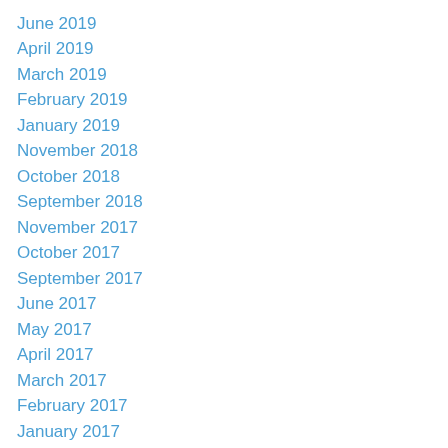June 2019
April 2019
March 2019
February 2019
January 2019
November 2018
October 2018
September 2018
November 2017
October 2017
September 2017
June 2017
May 2017
April 2017
March 2017
February 2017
January 2017
November 2016
October 2016
September 2016